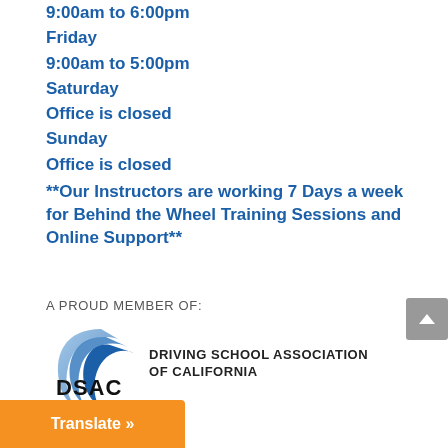9:00am to 6:00pm
Friday
9:00am to 5:00pm
Saturday
Office is closed
Sunday
Office is closed
**Our Instructors are working 7 Days a week for Behind the Wheel Training Sessions and Online Support**
A PROUD MEMBER OF:
[Figure (logo): DSAC - Driving School Association of California logo with blue arc graphic]
Translate »